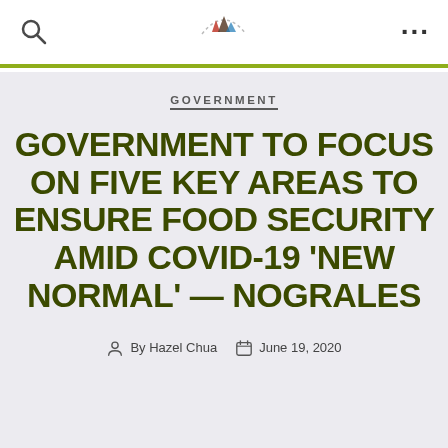GOVERNMENT
GOVERNMENT
GOVERNMENT TO FOCUS ON FIVE KEY AREAS TO ENSURE FOOD SECURITY AMID COVID-19 'NEW NORMAL' — NOGRALES
By Hazel Chua   June 19, 2020